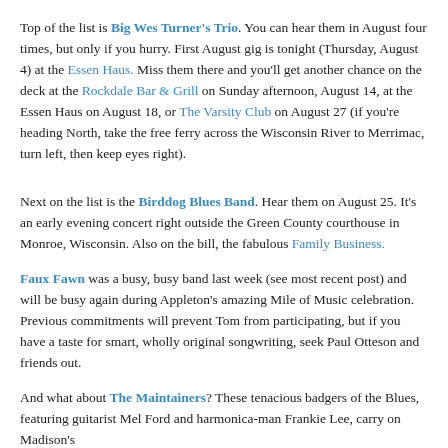Top of the list is Big Wes Turner's Trio. You can hear them in August four times, but only if you hurry. First August gig is tonight (Thursday, August 4) at the Essen Haus. Miss them there and you'll get another chance on the deck at the Rockdale Bar & Grill on Sunday afternoon, August 14, at the Essen Haus on August 18, or The Varsity Club on August 27 (if you're heading North, take the free ferry across the Wisconsin River to Merrimac, turn left, then keep eyes right).
Next on the list is the Birddog Blues Band. Hear them on August 25. It's an early evening concert right outside the Green County courthouse in Monroe, Wisconsin. Also on the bill, the fabulous Family Business.
Faux Fawn was a busy, busy band last week (see most recent post) and will be busy again during Appleton's amazing Mile of Music celebration. Previous commitments will prevent Tom from participating, but if you have a taste for smart, wholly original songwriting, seek Paul Otteson and friends out.
And what about The Maintainers? These tenacious badgers of the Blues, featuring guitarist Mel Ford and harmonica-man Frankie Lee, carry on Madison's